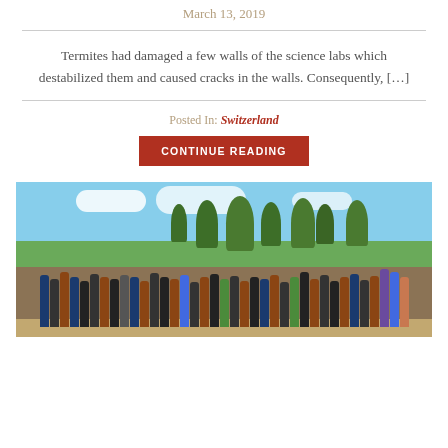March 13, 2019
Termites had damaged a few walls of the science labs which destabilized them and caused cracks in the walls. Consequently, [...]
Posted In: Switzerland
CONTINUE READING
[Figure (photo): Group photo of a large number of people, both African and European, standing and kneeling outdoors in a rural setting with trees and a dirt ground.]